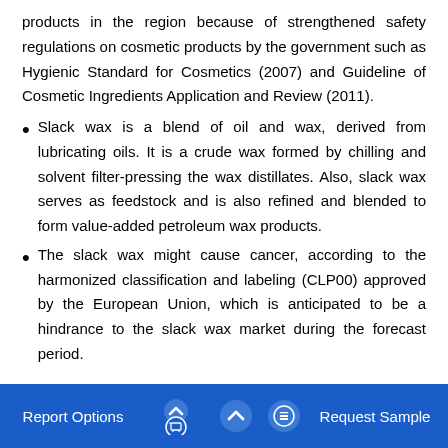products in the region because of strengthened safety regulations on cosmetic products by the government such as Hygienic Standard for Cosmetics (2007) and Guideline of Cosmetic Ingredients Application and Review (2011).
Slack wax is a blend of oil and wax, derived from lubricating oils. It is a crude wax formed by chilling and solvent filter-pressing the wax distillates. Also, slack wax serves as feedstock and is also refined and blended to form value-added petroleum wax products.
The slack wax might cause cancer, according to the harmonized classification and labeling (CLP00) approved by the European Union, which is anticipated to be a hindrance to the slack wax market during the forecast period.
[partial cut-off text]
Report Options   ^   Request Sample